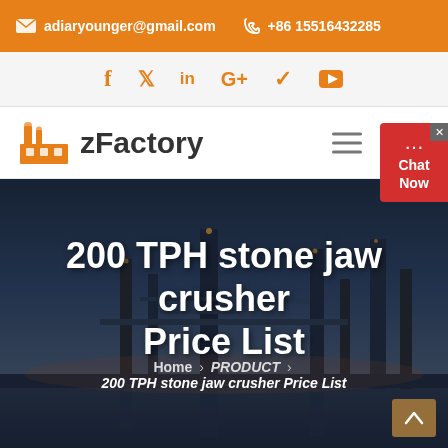adiaryounger@gmail.com  +86 15516432285
[Figure (screenshot): Social media icons bar: Facebook, Twitter, LinkedIn, Google+, Pinterest, YouTube - all in orange]
[Figure (logo): zFactory logo with orange factory icon and bold text zFactory]
[Figure (photo): Industrial facility at dusk with large text overlay: 200 TPH stone jaw crusher Price List. Breadcrumb: Home > PRODUCT > 200 TPH stone jaw crusher Price List]
200 TPH stone jaw crusher Price List
Home › PRODUCT › 200 TPH stone jaw crusher Price List